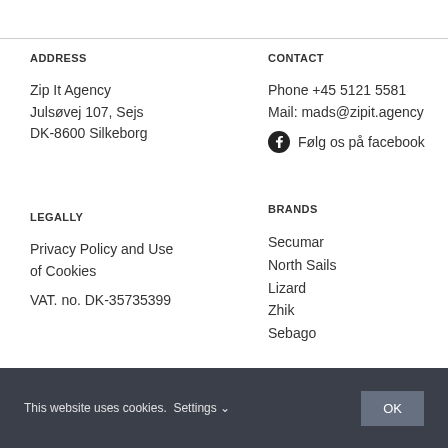ADDRESS
Zip It Agency
Julsøvej 107, Sejs
DK-8600 Silkeborg
CONTACT
Phone +45 5121 5581
Mail: mads@zipit.agency
Følg os på facebook
LEGALLY
Privacy Policy and Use of Cookies
VAT. no. DK-35735399
BRANDS
Secumar
North Sails
Lizard
Zhik
Sebago
This website uses cookies. Settings  OK